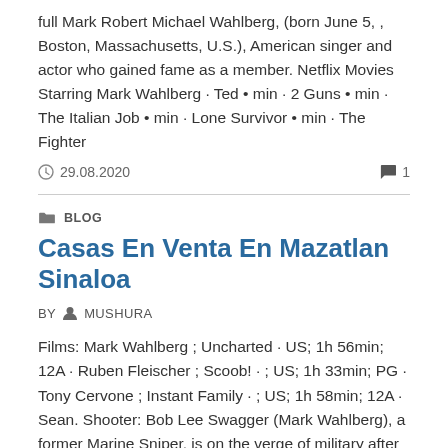full Mark Robert Michael Wahlberg, (born June 5, , Boston, Massachusetts, U.S.), American singer and actor who gained fame as a member. Netflix Movies Starring Mark Wahlberg · Ted • min · 2 Guns • min · The Italian Job • min · Lone Survivor • min · The Fighter
29.08.2020   1
BLOG
Casas En Venta En Mazatlan Sinaloa
BY  MUSHURA
Films: Mark Wahlberg ; Uncharted · US; 1h 56min; 12A · Ruben Fleischer ; Scoob! · ; US; 1h 33min; PG · Tony Cervone ; Instant Family · ; US; 1h 58min; 12A · Sean. Shooter: Bob Lee Swagger (Mark Wahlberg), a former Marine Sniper, is on the verge of military after...